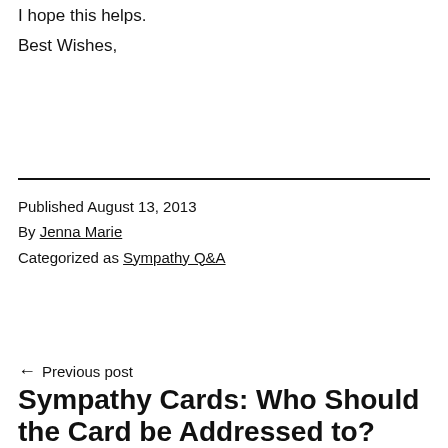I hope this helps.
Best Wishes,
Published August 13, 2013
By Jenna Marie
Categorized as Sympathy Q&A
← Previous post
Sympathy Cards: Who Should the Card be Addressed to?